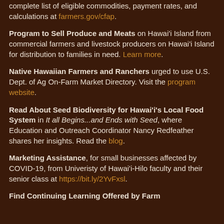complete list of eligible commodities, payment rates, and calculations at farmers.gov/cfap.
Program to Sell Produce and Meats on Hawai'i Island from commercial farmers and livestock producers on Hawai'i Island for distribution to families in need. Learn more.
Native Hawaiian Farmers and Ranchers urged to use U.S. Dept. of Ag On-Farm Market Directory. Visit the program website.
Read About Seed Biodiversity for Hawai'i's Local Food System in It all Begins...and Ends with Seed, where Education and Outreach Coordinator Nancy Redfeather shares her insights. Read the blog.
Marketing Assistance, for small businesses affected by COVID-19, from Univeristy of Hawai'i-Hilo faculty and their senior class at https://bit.ly/2YvFxsl.
Find Continuing Learning Offered by Farm...